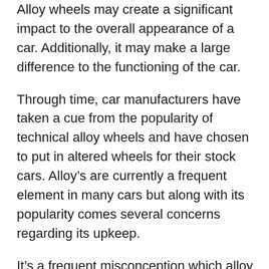Alloy wheels may create a significant impact to the overall appearance of a car. Additionally, it may make a large difference to the functioning of the car.
Through time, car manufacturers have taken a cue from the popularity of technical alloy wheels and have chosen to put in altered wheels for their stock cars. Alloy’s are currently a frequent element in many cars but along with its popularity comes several concerns regarding its upkeep.
It’s a frequent misconception which alloy wheel repair is almost next to impossible. Most people feel it may be a total waste of effort and cash. However, alloy wheels can actually be fixed to a fantastic extent. Alloy repair is in fact a well researched operation. Many